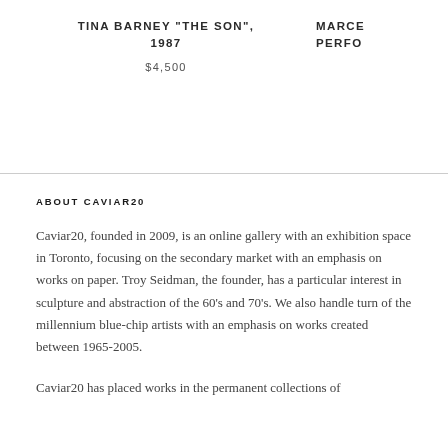TINA BARNEY "THE SON", 1987
$4,500
MARCE PERFO
ABOUT CAVIAR20
Caviar20, founded in 2009, is an online gallery with an exhibition space in Toronto, focusing on the secondary market with an emphasis on works on paper. Troy Seidman, the founder, has a particular interest in sculpture and abstraction of the 60's and 70's. We also handle turn of the millennium blue-chip artists with an emphasis on works created between 1965-2005.
Caviar20 has placed works in the permanent collections of